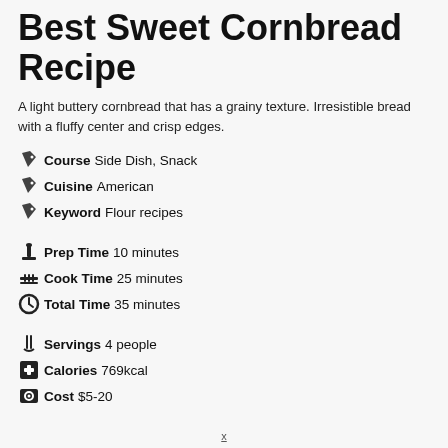Best Sweet Cornbread Recipe
A light buttery cornbread that has a grainy texture. Irresistible bread with a fluffy center and crisp edges.
Course  Side Dish, Snack
Cuisine  American
Keyword  Flour recipes
Prep Time  10 minutes
Cook Time  25 minutes
Total Time  35 minutes
Servings  4 people
Calories  769kcal
Cost  $5-20